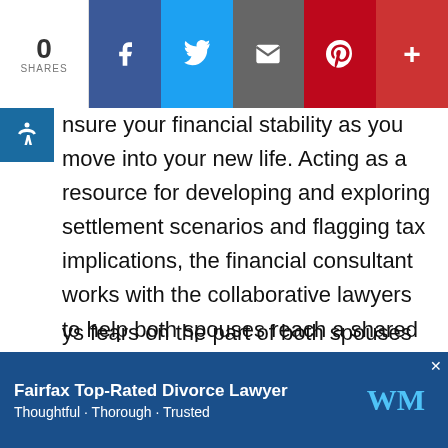[Figure (infographic): Social sharing bar showing 0 shares, with Facebook (blue), Twitter (light blue), Email (gray), Pinterest (red), and Google+ (orange-red) buttons]
nsure your financial stability as you move into your new life. Acting as a resource for developing and exploring settlement scenarios and flagging tax implications, the financial consultant works with the collaborative lawyers to help both spouses reach a shared understanding of real-world financial limitations as well as possibilities for expanding the financial pie. If documents are missing or questions remain unanswered, the financial consultant lets the lawyers know. If one of the spouses needs a basic education in checkbook balancing or budgeting, the financial consultant points this out and can provide ys fears on the part of both spouses because all financial disclosures are
[Figure (infographic): Bottom advertisement bar: Fairfax Top-Rated Divorce Lawyer — Thoughtful · Thorough · Trusted, with WM logo and close button]